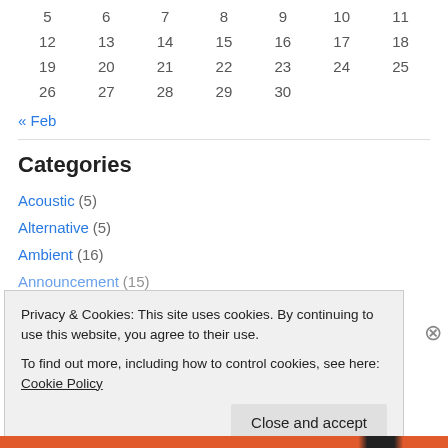| 5 | 6 | 7 | 8 | 9 | 10 | 11 |
| 12 | 13 | 14 | 15 | 16 | 17 | 18 |
| 19 | 20 | 21 | 22 | 23 | 24 | 25 |
| 26 | 27 | 28 | 29 | 30 |  |  |
« Feb
Categories
Acoustic (5)
Alternative (5)
Ambient (16)
Announcement (15)
Privacy & Cookies: This site uses cookies. By continuing to use this website, you agree to their use.
To find out more, including how to control cookies, see here: Cookie Policy